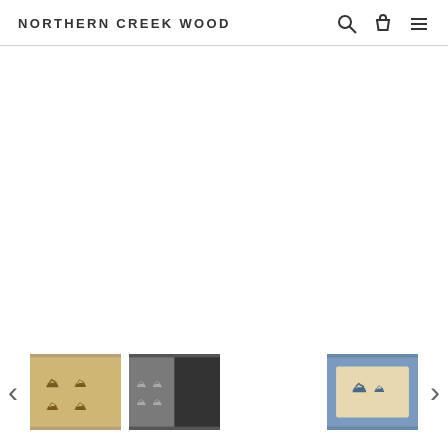NORTHERN CREEK WOOD
[Figure (screenshot): E-commerce product page screenshot. Large white main image area (product image not loaded). Below are thumbnail navigation images showing wood products with a mountain/triangle logo mark. Three thumbnails visible: two showing wooden pieces with a branded logo stamp, one gap (empty), and one showing a blue/wooden product. Navigation arrows on left and right sides.]